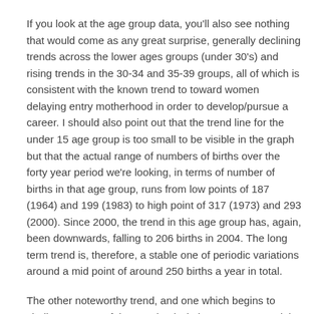If you look at the age group data, you'll also see nothing that would come as any great surprise, generally declining trends across the lower ages groups (under 30's) and rising trends in the 30-34 and 35-39 groups, all of which is consistent with the known trend to toward women delaying entry motherhood in order to develop/pursue a career. I should also point out that the trend line for the  under 15 age group is too small to be visible in the graph but that the actual range of numbers of births over the forty year period we're looking, in terms of number of births in that age group, runs from low points of 187 (1964) and 199 (1983) to high point of 317 (1973) and 293 (2000). Since 2000, the trend in this age group has, again, been downwards, falling to 206 births in 2004. The long term trend is, therefore, a stable one of periodic variations around a mid point of around 250 births a year in total.
The other noteworthy trend, and one which begins to challenge some of the 'received wisdom' amongst social conservatives, is that over the last 40 years the number of women giving birth while still a teenager has fallen by